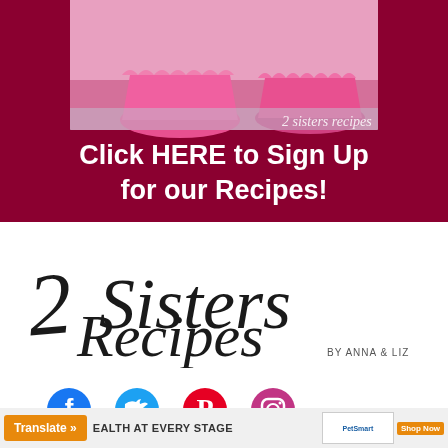[Figure (photo): Pink cupcake liners/wrappers on a surface with '2 sisters recipes' watermark, displayed inside a dark red/maroon banner]
Click HERE to Sign Up for our Recipes!
[Figure (logo): 2 Sisters Recipes by Anna & Liz script logo in black cursive on white background]
[Figure (infographic): Row of social media icons: Facebook (blue circle with f), Twitter (blue circle with bird), Pinterest (red circle with P), Instagram (pink/red circle with camera)]
Translate »
HEALTH AT EVERY STAGE
[Figure (photo): PetSmart advertisement with cat food and Shop Now button]